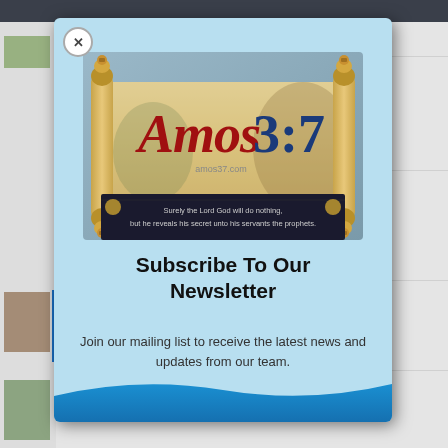The Birth of a Worldwide Green Police
[Figure (screenshot): Amos 3:7 website logo showing a Torah scroll graphic with text 'Amos3:7' and a dark banner reading 'Surely the Lord God will do nothing, but he reveals his secret unto his servants the prophets.' with amos37.com watermark]
Subscribe To Our Newsletter
Join our mailing list to receive the latest news and updates from our team.